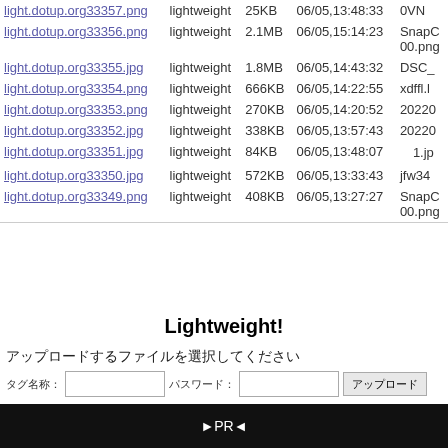| filename | tag | size | date | origname |
| --- | --- | --- | --- | --- |
| light.dotup.org33357.png | lightweight | 25KB | 06/05,13:48:33 | 0VN... |
| light.dotup.org33356.png | lightweight | 2.1MB | 06/05,15:14:23 | SnapC 00.png |
| light.dotup.org33355.jpg | lightweight | 1.8MB | 06/05,14:43:32 | DSC_... |
| light.dotup.org33354.png | lightweight | 666KB | 06/05,14:22:55 | xdffl.l... |
| light.dotup.org33353.png | lightweight | 270KB | 06/05,14:20:52 | 20220... |
| light.dotup.org33352.jpg | lightweight | 338KB | 06/05,13:57:43 | 20220... |
| light.dotup.org33351.jpg | lightweight | 84KB | 06/05,13:48:07 | 　1.jp... |
| light.dotup.org33350.jpg | lightweight | 572KB | 06/05,13:33:43 | jfw34... |
| light.dotup.org33349.png | lightweight | 408KB | 06/05,13:27:27 | SnapC 00.png |
Lightweight!
アップロードするファイルを選択してください
タグ名称: [input] パスワード: [input] [アップロード]
►PR◄